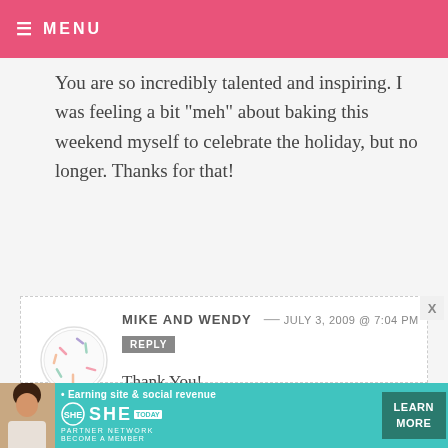≡ MENU
You are so incredibly talented and inspiring. I was feeling a bit "meh" about baking this weekend myself to celebrate the holiday, but no longer. Thanks for that!
MIKE AND WENDY — JULY 3, 2009 @ 7:04 PM
REPLY
Thank You!
It's so nice to know patriotism isn't politically incorrect for everyone in
[Figure (infographic): SHE Media partner network advertisement banner with a woman, tagline 'Earning site & social revenue', SHE logo, PARTNER NETWORK text, BECOME A MEMBER, and LEARN MORE button]
X